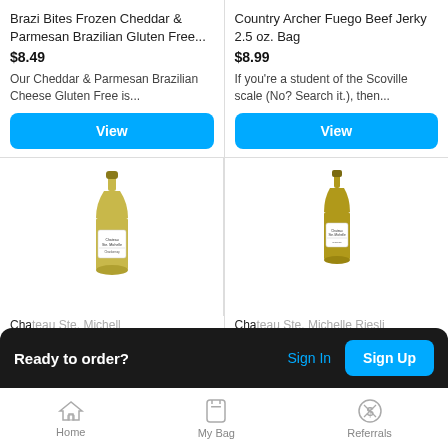Brazi Bites Frozen Cheddar & Parmesan Brazilian Gluten Free...
$8.49
Our Cheddar & Parmesan Brazilian Cheese Gluten Free is...
View
Country Archer Fuego Beef Jerky 2.5 oz. Bag
$8.99
If you're a student of the Scoville scale (No? Search it.), then...
View
[Figure (photo): White wine bottle with label (Chateau Ste. Michelle)]
[Figure (photo): White wine bottle with label (Chateau Ste. Michelle Riesling)]
Chateau Ste. Michelle Ch...
$1...
Chateau Ste. Michelle Riesli...
Ready to order?
Sign In
Sign Up
Home
My Bag
Referrals